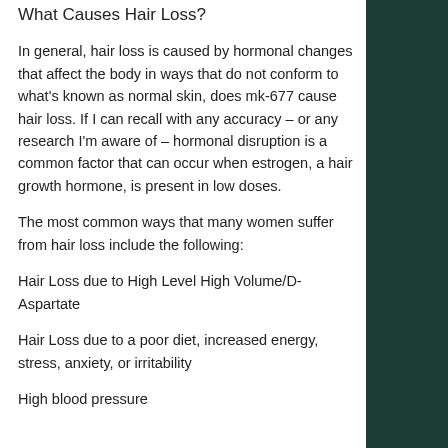What Causes Hair Loss?
In general, hair loss is caused by hormonal changes that affect the body in ways that do not conform to what's known as normal skin, does mk-677 cause hair loss. If I can recall with any accuracy – or any research I'm aware of – hormonal disruption is a common factor that can occur when estrogen, a hair growth hormone, is present in low doses.
The most common ways that many women suffer from hair loss include the following:
Hair Loss due to High Level High Volume/D-Aspartate
Hair Loss due to a poor diet, increased energy, stress, anxiety, or irritability
High blood pressure